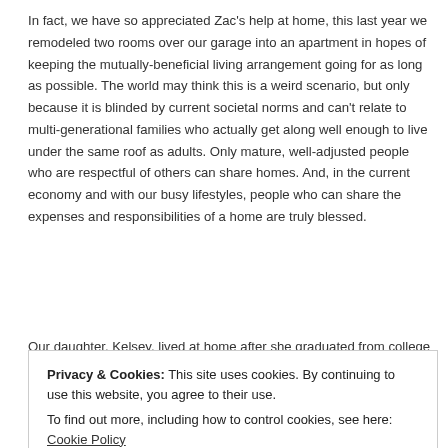In fact, we have so appreciated Zac's help at home, this last year we remodeled two rooms over our garage into an apartment in hopes of keeping the mutually-beneficial living arrangement going for as long as possible. The world may think this is a weird scenario, but only because it is blinded by current societal norms and can't relate to multi-generational families who actually get along well enough to live under the same roof as adults. Only mature, well-adjusted people who are respectful of others can share homes. And, in the current economy and with our busy lifestyles, people who can share the expenses and responsibilities of a home are truly blessed.
Our daughter, Kelsey, lived at home after she graduated from college
Privacy & Cookies: This site uses cookies. By continuing to use this website, you agree to their use.
To find out more, including how to control cookies, see here: Cookie Policy
Close and accept